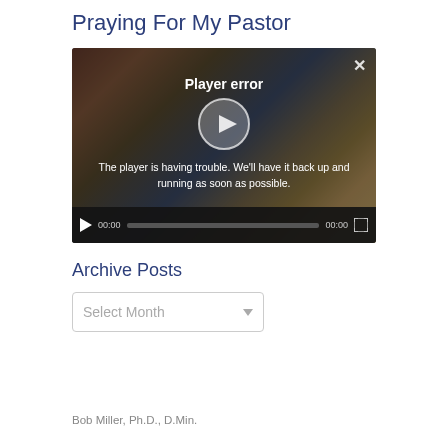Praying For My Pastor
[Figure (screenshot): Video player showing a person wearing a cap from behind, with bokeh background. Player error overlay: 'Player error' and 'The player is having trouble. We'll have it back up and running as soon as possible.' Controls show 00:00 timestamp and progress bar.]
Archive Posts
Select Month
Bob Miller, Ph.D., D.Min.